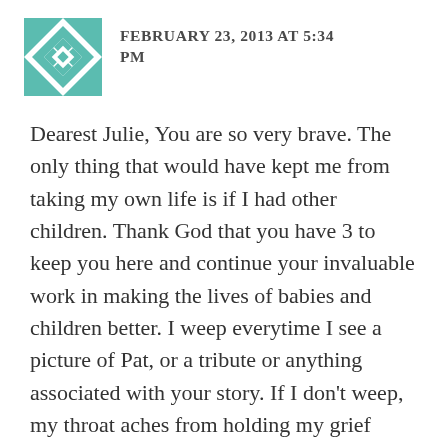[Figure (logo): Teal/mint colored geometric quilt-pattern avatar icon, square with star/diamond pattern]
FEBRUARY 23, 2013 AT 5:34 PM
Dearest Julie, You are so very brave. The only thing that would have kept me from taking my own life is if I had other children. Thank God that you have 3 to keep you here and continue your invaluable work in making the lives of babies and children better. I weep everytime I see a picture of Pat, or a tribute or anything associated with your story. If I don't weep, my throat aches from holding my grief back. I